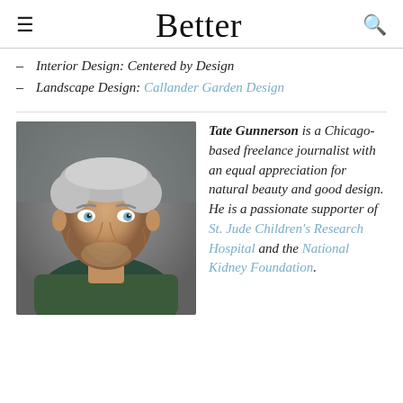Better
Interior Design: Centered by Design
Landscape Design: Callander Garden Design
Tate Gunnerson is a Chicago-based freelance journalist with an equal appreciation for natural beauty and good design. He is a passionate supporter of St. Jude Children's Research Hospital and the National Kidney Foundation.